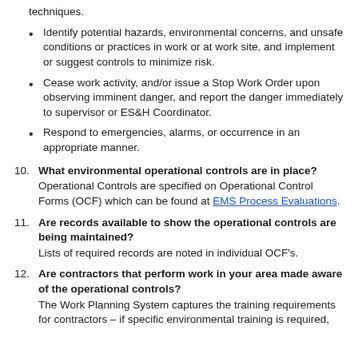techniques.
Identify potential hazards, environmental concerns, and unsafe conditions or practices in work or at work site, and implement or suggest controls to minimize risk.
Cease work activity, and/or issue a Stop Work Order upon observing imminent danger, and report the danger immediately to supervisor or ES&H Coordinator.
Respond to emergencies, alarms, or occurrence in an appropriate manner.
10. What environmental operational controls are in place? Operational Controls are specified on Operational Control Forms (OCF) which can be found at EMS Process Evaluations.
11. Are records available to show the operational controls are being maintained? Lists of required records are noted in individual OCF's.
12. Are contractors that perform work in your area made aware of the operational controls? The Work Planning System captures the training requirements for contractors – if specific environmental training is required,